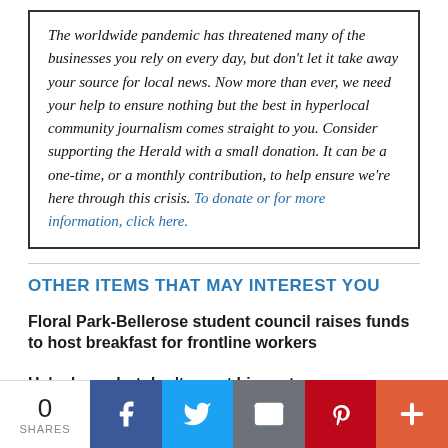The worldwide pandemic has threatened many of the businesses you rely on every day, but don't let it take away your source for local news. Now more than ever, we need your help to ensure nothing but the best in hyperlocal community journalism comes straight to you. Consider supporting the Herald with a small donation. It can be a one-time, or a monthly contribution, to help ensure we're here through this crisis. To donate or for more information, click here.
OTHER ITEMS THAT MAY INTEREST YOU
Floral Park-Bellerose student council raises funds to host breakfast for frontline workers
He's down, but don't count him out
Underdog travel team wins the Cal Ripken Tournament
[Figure (infographic): Social share bar with 0 SHARES count, Facebook, Twitter, Email, Pinterest, and More (+) buttons]